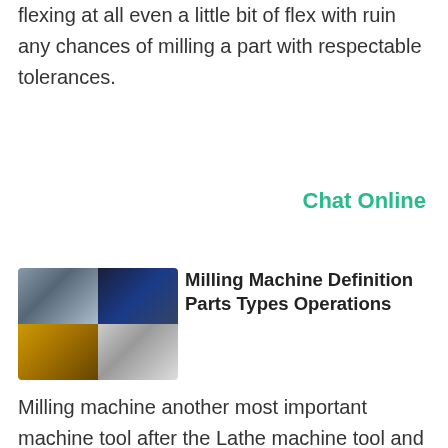flexing at all even a little bit of flex with ruin any chances of milling a part with respectable tolerances.
Chat Online
[Figure (photo): Collage of four milling machine photos arranged in a 2x2 grid]
Milling Machine Definition Parts Types Operations
Milling machine another most important machine tool after the Lathe machine tool and drilling machine. In this machine a multipoint cutter is rotating against the workpiece and material removed from the workpiece accordingly. In today s article you will learn about the definition parts types and